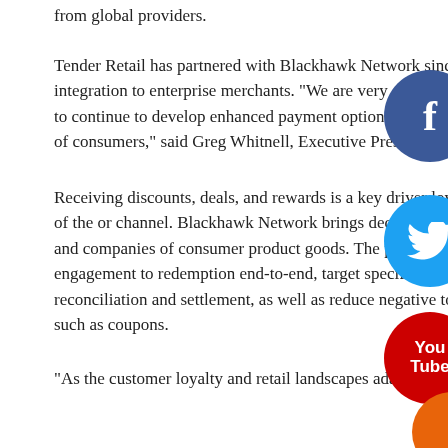from global providers.
Tender Retail has partnered with Blackhawk Network since 2006, delivering prepaid gift card payment integration to enterprise merchants. “We are very excited to strengthen our relationship with Blackhawk to continue to develop enhanced payment options and meet the diverse and rapidly changing demands of consumers,” said Greg Whitnell, Executive President of Tender Retail.
Receiving discounts, deals, and rewards is a key driver of loyalty and motivation for shoppers, regardless of the device or channel. Blackhawk Network brings decades of experience in executing solutions for retailers and companies of consumer product goods. The pre-integrated solutions help enterprise merchants track engagement to redemption end-to-end, target specific or a group of products, facilitate faster reconciliation and settlement, as well as reduce negative top-line revenue impact generated by discounts such as coupons.
“As the customer loyalty and retail landscapes adapt to